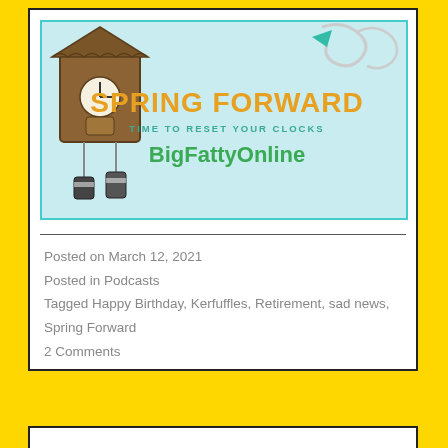[Figure (illustration): Spring Forward - Time to Reset Your Clocks illustration with cuckoo clock and BigFattyOnline branding text on light blue background]
Posted on March 12, 2021
Posted in Podcasts
Tagged Happy Birthday, Kerfuffles, Retirement, sad news, Spring Forward
2 Comments
BFO3410 – A Very Kind Soul